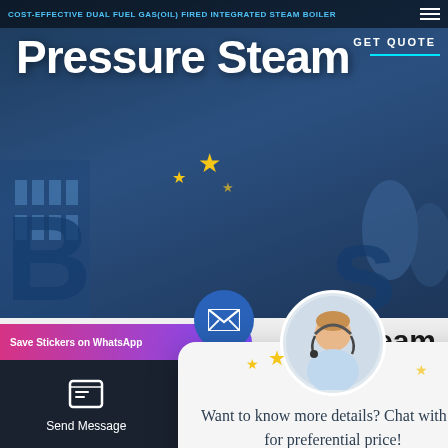COST-EFFECTIVE Dual Fuel Gas (Oil) Fired Integrated Steam Boiler
Pressure Steam
GET QUOTE
[Figure (screenshot): Industrial boiler building background image with blue tones]
10 Ton Steam
Boiler Belarus
[Figure (other): Chat popup with customer service avatar. Text: Want to know more details? Chat with us for preferential price! Button: Get Latest Price]
Save Stickers on WhatsApp
Send Message
Inquiry Online